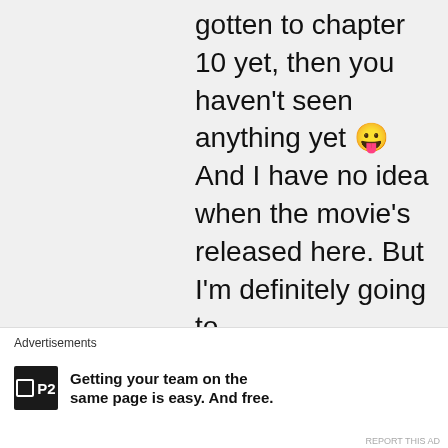gotten to chapter 10 yet, then you haven't seen anything yet 😛 And I have no idea when the movie's released here. But I'm definitely going to …
Advertisements
[Figure (logo): P2 product advertisement logo and tagline: Getting your team on the same page is easy. And free.]